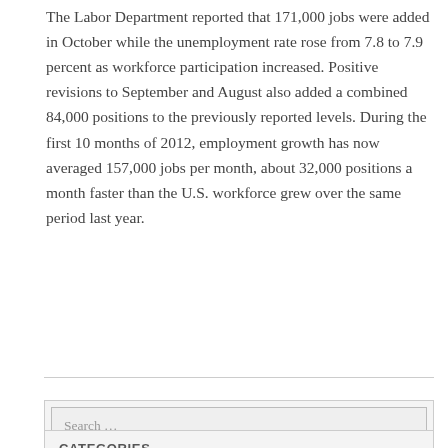The Labor Department reported that 171,000 jobs were added in October while the unemployment rate rose from 7.8 to 7.9 percent as workforce participation increased. Positive revisions to September and August also added a combined 84,000 positions to the previously reported levels. During the first 10 months of 2012, employment growth has now averaged 157,000 jobs per month, about 32,000 positions a month faster than the U.S. workforce grew over the same period last year.
Read more →
Search …
CATEGORIES